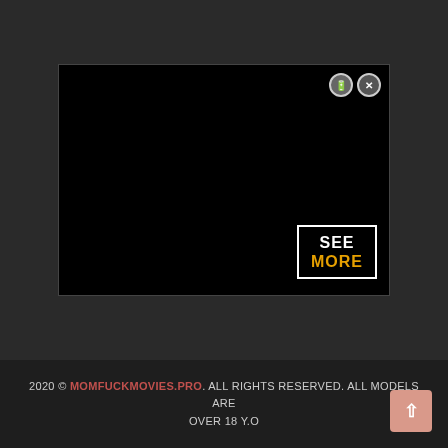[Figure (screenshot): A black video player area with close/mute buttons in the top right corner, and a 'SEE MORE' overlay button in the bottom right corner with white bracket corners. 'SEE' is in white and 'MORE' is in gold/yellow.]
2020 © MOMFUCKMOVIES.PRO. ALL RIGHTS RESERVED. ALL MODELS ARE OVER 18 Y.O